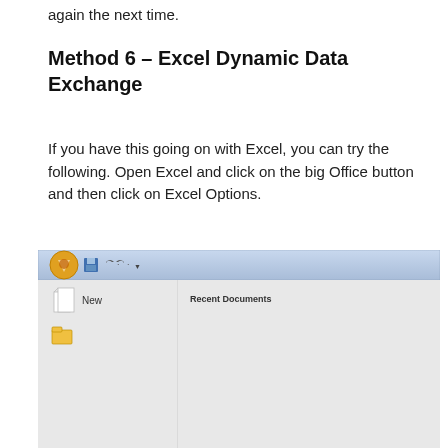again the next time.
Method 6 – Excel Dynamic Data Exchange
If you have this going on with Excel, you can try the following. Open Excel and click on the big Office button and then click on Excel Options.
[Figure (screenshot): Screenshot of Microsoft Excel 2007 Office Button menu showing options: New, Open, Save, Save As, Print, Prepare with Recent Documents panel on the right.]